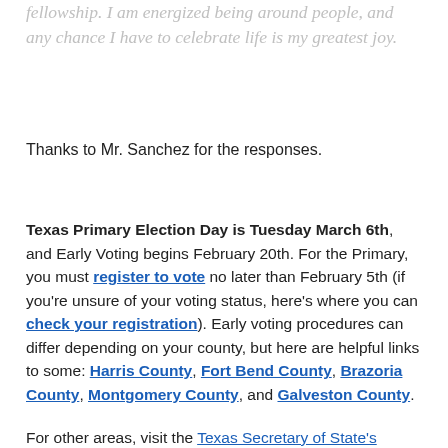fellowship. I am energized being around people, and any chance I have to celebrate life is my greatest joy.
Thanks to Mr. Sanchez for the responses.
Texas Primary Election Day is Tuesday March 6th, and Early Voting begins February 20th. For the Primary, you must register to vote no later than February 5th (if you're unsure of your voting status, here's where you can check your registration). Early voting procedures can differ depending on your county, but here are helpful links to some: Harris County, Fort Bend County, Brazoria County, Montgomery County, and Galveston County.
For other areas, visit the Texas Secretary of State's Elections